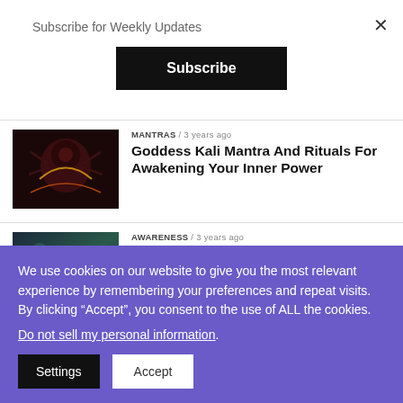Subscribe for Weekly Updates
Subscribe
MANTRAS / 3 years ago
Goddess Kali Mantra And Rituals For Awakening Your Inner Power
[Figure (photo): Goddess Kali illustration - dark background with fire]
AWARENESS / 3 years ago
Divine Feminine: 20 Incredibly Inspirational Quotes And Poems
[Figure (photo): Divine feminine illustration - woman in teal/green mystical scene]
We use cookies on our website to give you the most relevant experience by remembering your preferences and repeat visits. By clicking “Accept”, you consent to the use of ALL the cookies.
Do not sell my personal information.
Settings
Accept